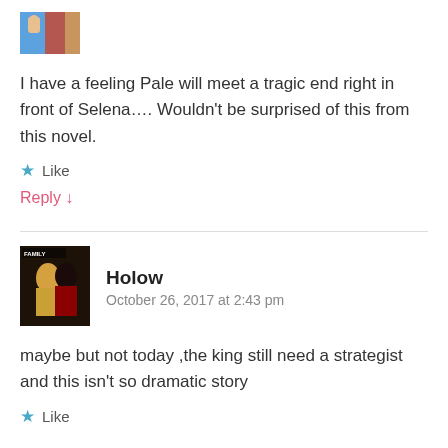[Figure (illustration): Small avatar thumbnail showing colorful anime-style illustration]
I have a feeling Pale will meet a tragic end right in front of Selena…. Wouldn't be surprised of this from this novel.
Like
Reply ↓
[Figure (illustration): Book cover avatar with dark figures, labeled 'FAMILY']
Holow
October 26, 2017 at 2:43 pm
maybe but not today ,the king still need a strategist and this isn't so dramatic story
Like